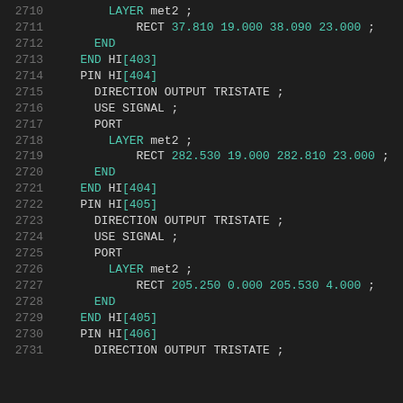Code listing lines 2710-2731, LEF/DEF hardware description language showing PIN definitions for HI[403] through HI[406] with DIRECTION OUTPUT TRISTATE, USE SIGNAL, PORT, LAYER met2, and RECT coordinates.